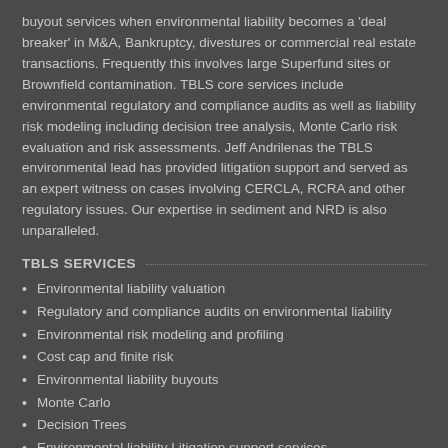buyout services when environmental liability becomes a 'deal breaker' in M&A, Bankruptcy, divestures or commercial real estate transactions. Frequently this involves large Superfund sites or Brownfield contamination. TBLS core services include environmental regulatory and compliance audits as well as liability risk modeling including decision tree analysis, Monte Carlo risk evaluation and risk assessments. Jeff Andrilenas the TBLS environmental lead has provided litigation support and served as an expert witness on cases involving CERCLA, RCRA and other regulatory issues. Our expertise in sediment and NRD is also unparalleled.
TBLS SERVICES
Environmental liability valuation
Regulatory and compliance audits on environmental liability
Environmental risk modeling and profiling
Cost cap and finite risk
Environmental liability buyouts
Monte Carlo
Decision Trees
Environmental liability Litigation support services